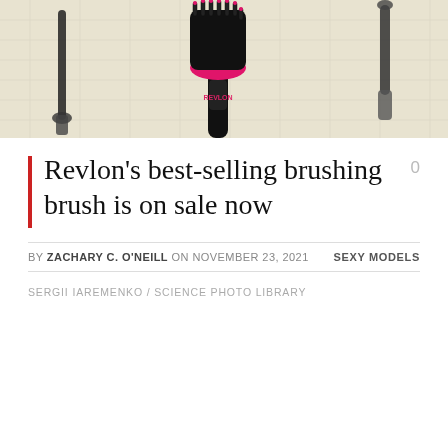[Figure (photo): Product photo of Revlon brushing/blow-dry brush tools on a light beige grid-patterned background, showing a round barrel brush with pink accents and other styling tools]
Revlon's best-selling brushing brush is on sale now
BY ZACHARY C. O'NEILL ON NOVEMBER 23, 2021    SEXY MODELS
SERGII IAREMENKO / SCIENCE PHOTO LIBRARY